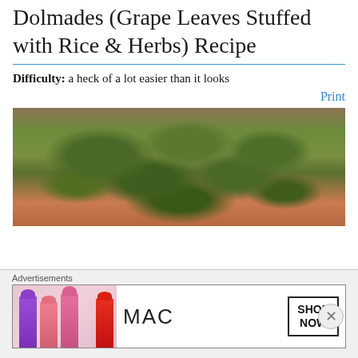Dolmades (Grape Leaves Stuffed with Rice & Herbs) Recipe
Difficulty: a heck of a lot easier than it looks
Print
[Figure (photo): A pile of dolmades (stuffed grape leaves) on a plate, showing the rolled dark green grape leaves with rice filling visible in the foreground]
Advertisements
[Figure (other): MAC cosmetics advertisement showing colorful lipsticks on the left, MAC logo in the center, and a SHOP NOW box on the right]